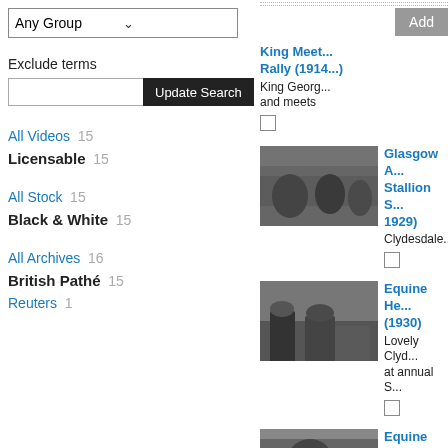Any Group
Exclude terms
Update Search
All Videos 15
Licensable 15
All Stock 15
Black & White 15
All Archives 16
British Pathé 15
Reuters 1
Add
King Meet... Rally (1914...)
King Georg... and meets
[Figure (photo): Black and white archival photo of horses in a field]
Glasgow A... Stallion S... 1929)
Clydesdale...
[Figure (photo): Black and white photo of horses with handlers]
Equine He... (1930)
Lovely Clyd... at annual S...
[Figure (photo): Black and white partial photo at bottom]
Equine He... (1932...)